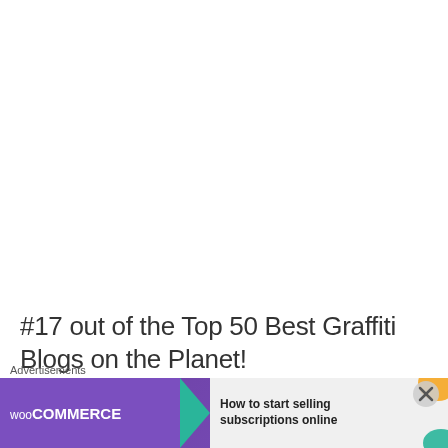#17 out of the Top 50 Best Graffiti Blogs on the Planet!
[Figure (logo): A red and yellow/gold V-shaped medal or award ribbon logo]
Advertisements
[Figure (screenshot): WooCommerce advertisement banner: purple background with WooCommerce logo, teal arrow, text 'How to start selling subscriptions online', orange and teal decorative blobs]